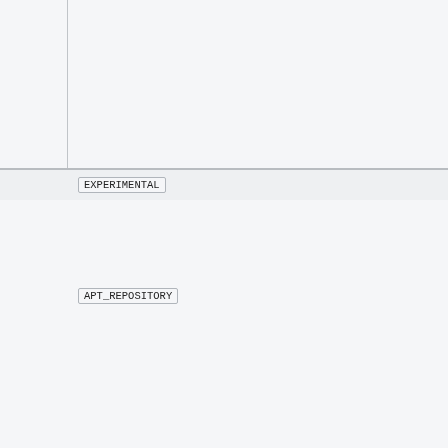EXPERIMENTAL
APT_REPOSITORY
APT_KEY_URL
APT_KEY_ID